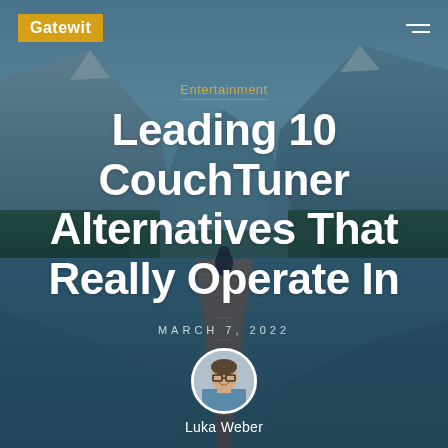[Figure (photo): Scenic mountain lake with a wooden dock/pier extending into calm water, a person sitting at the end of the dock, surrounded by mountains and forest, with blue-teal toning overlay. Used as a full-page hero background image.]
Gatewit
Entertainment
Leading 10 CouchTuner Alternatives That Really Operate In
MARCH 7, 2022
[Figure (photo): Circular portrait photo of author Luka Weber, a young man with glasses, wearing a blue shirt.]
Luka Weber